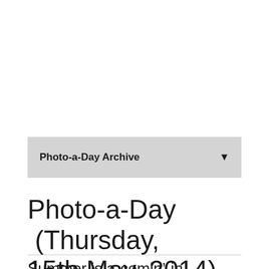Photo-a-Day Archive
Photo-a-Day (Thursday, 15th May, 2014)
Summer is a-comin'-in